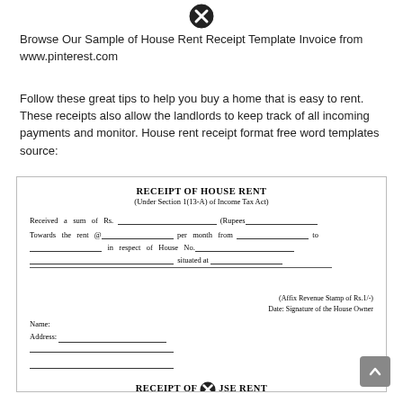[Figure (other): Close/cancel button (X icon) at top center]
Browse Our Sample of House Rent Receipt Template Invoice from www.pinterest.com
Follow these great tips to help you buy a home that is easy to rent. These receipts also allow the landlords to keep track of all incoming payments and monitor. House rent receipt format free word templates source:
[Figure (other): Receipt of House Rent form template with fields for amount, date, rent per month, house number, address, stamp area, name and address lines. Title: RECEIPT OF HOUSE RENT (Under Section 1(13-A) of Income Tax Act)]